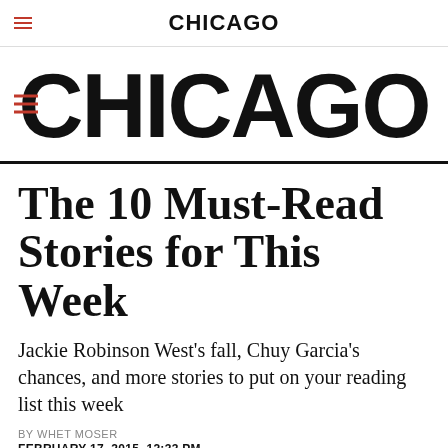CHICAGO
CHICAGO
The 10 Must-Read Stories for This Week
Jackie Robinson West's fall, Chuy Garcia's chances, and more stories to put on your reading list this week
BY WHET MOSER
FEBRUARY 17, 2015, 12:33 PM